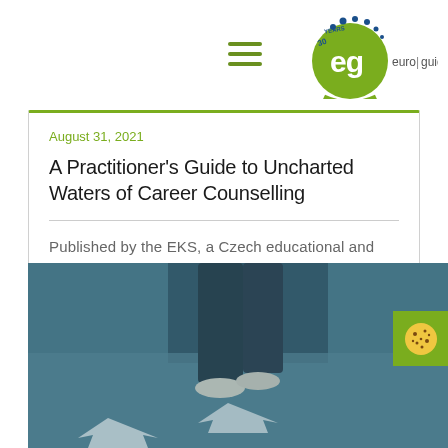euro|guidance – 30 Years
August 31, 2021
A Practitioner's Guide to Uncharted Waters of Career Counselling
Published by the EKS, a Czech educational and consulting organization, this book approaches the career practitioner's role from the standpoint...
[Figure (photo): Street-level photo showing a person's legs and feet walking on pavement with white directional arrows painted on the ground, tinted in blue-green tones.]